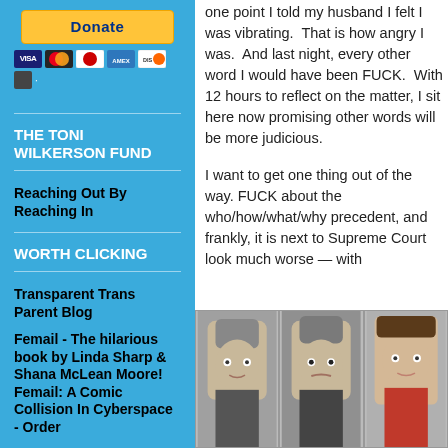[Figure (other): PayPal Donate button with credit card icons (Visa, Mastercard, Discover, Amex, etc.)]
THE TONI WILKERSON FUND
Reaching Out By Reaching In
WORTH CLICKING
Transparent Trans Parent Blog
Femail - The hilarious book by Linda Sharp & Shana McLean Moore! Femail: A Comic Collision In Cyberspace - Order
one point I told my husband I felt I was vibrating.  That is how angry I was.  And last night, every other word I would have been FUCK.  With 12 hours to reflect on the matter, I sit here now promising other words will be more judicious.
I want to get one thing out of the way. FUCK about the who/how/what/why precedent, and frankly, it is next to Supreme Court look much worse — with Christofascist zealots who chose Society over the people of the United States. Even faced with a country which overturning Roe v Wade - 69% -
[Figure (photo): Three photos of public figures side by side (appears to be Supreme Court justices)]